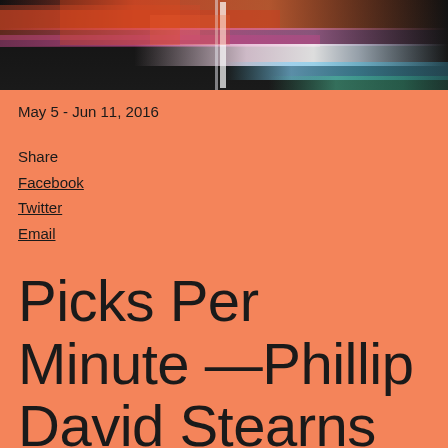[Figure (photo): Abstract colorful blurred horizontal light streaks in orange, red, pink, blue, and teal against a dark background, serving as a header banner image.]
May 5 - Jun 11, 2016
Share
Facebook
Twitter
Email
Picks Per Minute —Phillip David Stearns and Peter Wilkins